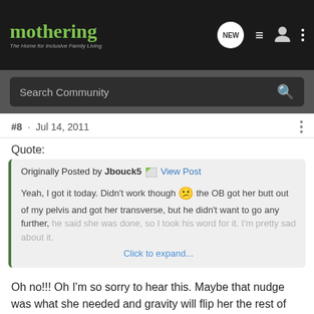mothering - The Home for Inclusive Family Living
Search Community
#8 · Jul 14, 2011
Quote:
Originally Posted by Jbouck5 View Post
Yeah, I got it today. Didn't work though 🙁 the OB got her butt out of my pelvis and got her transverse, but he didn't want to go any further, he said she was done, so I took his word for it. I'm pretty sad about it.
Click to expand...
Oh no!!! Oh I'm so sorry to hear this. Maybe that nudge was what she needed and gravity will flip her the rest of the way? My hopes are still up for you. Please do keep us posted.